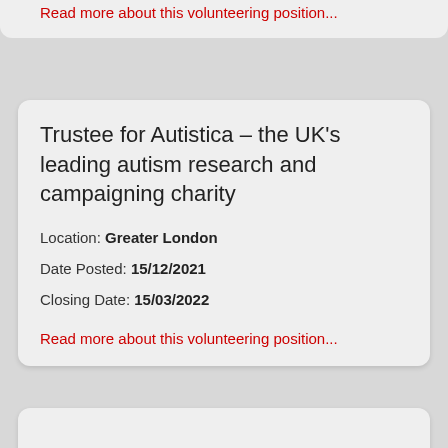Read more about this volunteering position...
Trustee for Autistica – the UK's leading autism research and campaigning charity
Location: Greater London
Date Posted: 15/12/2021
Closing Date: 15/03/2022
Read more about this volunteering position...